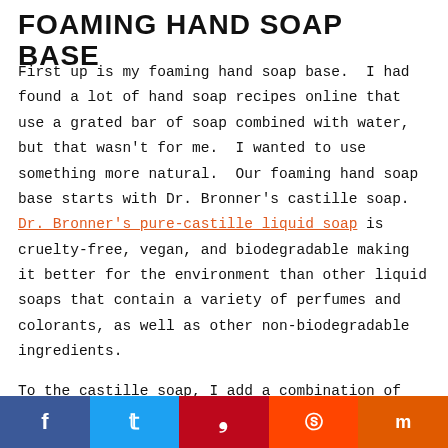FOAMING HAND SOAP BASE
First up is my foaming hand soap base.  I had found a lot of hand soap recipes online that use a grated bar of soap combined with water, but that wasn't for me.  I wanted to use something more natural.  Our foaming hand soap base starts with Dr. Bronner's castille soap.  Dr. Bronner's pure-castille liquid soap is cruelty-free, vegan, and biodegradable making it better for the environment than other liquid soaps that contain a variety of perfumes and colorants, as well as other non-biodegradable ingredients.
To the castille soap, I add a combination of melted
f  t  p  r  m